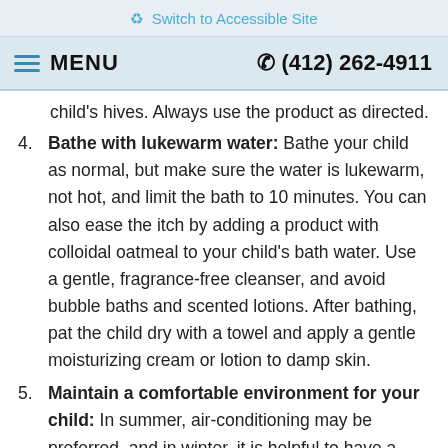♿ Switch to Accessible Site
≡ MENU   ☎ (412) 262-4911
child's hives. Always use the product as directed.
4. Bathe with lukewarm water: Bathe your child as normal, but make sure the water is lukewarm, not hot, and limit the bath to 10 minutes. You can also ease the itch by adding a product with colloidal oatmeal to your child's bath water. Use a gentle, fragrance-free cleanser, and avoid bubble baths and scented lotions. After bathing, pat the child dry with a towel and apply a gentle moisturizing cream or lotion to damp skin.
5. Maintain a comfortable environment for your child: In summer, air-conditioning may be preferred, and in winter, it is helpful to have a